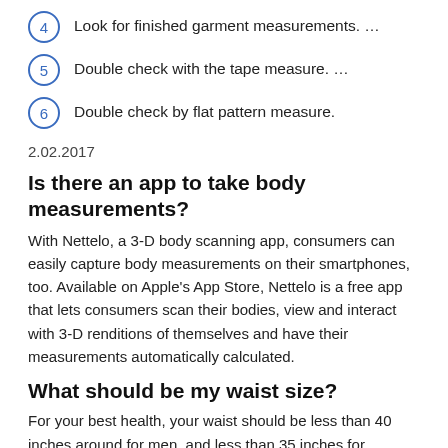4  Look for finished garment measurements. …
5  Double check with the tape measure. …
6  Double check by flat pattern measure.
2.02.2017
Is there an app to take body measurements?
With Nettelo, a 3-D body scanning app, consumers can easily capture body measurements on their smartphones, too. Available on Apple's App Store, Nettelo is a free app that lets consumers scan their bodies, view and interact with 3-D renditions of themselves and have their measurements automatically calculated.
What should be my waist size?
For your best health, your waist should be less than 40 inches around for men, and less than 35 inches for women. If it's larger than that, you may want to talk with your doctor.